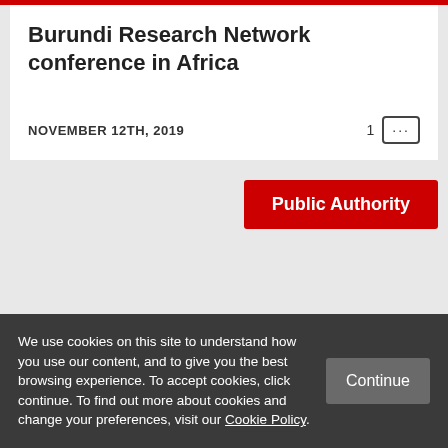Burundi Research Network conference in Africa
NOVEMBER 12TH, 2019
Public Authority
We use cookies on this site to understand how you use our content, and to give you the best browsing experience. To accept cookies, click continue. To find out more about cookies and change your preferences, visit our Cookie Policy.
Continue